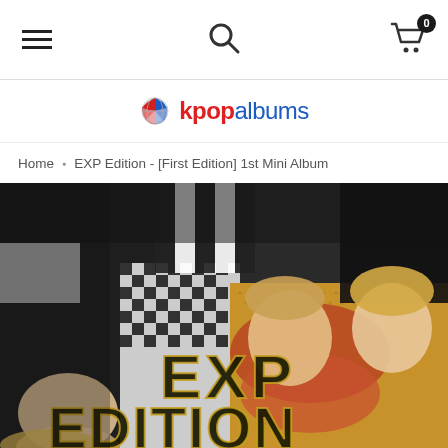Navigation bar with hamburger menu, search icon, and cart icon (0 items)
[Figure (logo): kpopalbums logo with globe icon and text 'kpopalbums']
Home • EXP Edition - [First Edition] 1st Mini Album
[Figure (photo): EXP Edition album cover photo showing multiple young men lying down, with 'EXP EDITION' text overlaid in large bold gold/black letters. The group is photographed from above in various poses wearing black outfits on a patterned surface.]